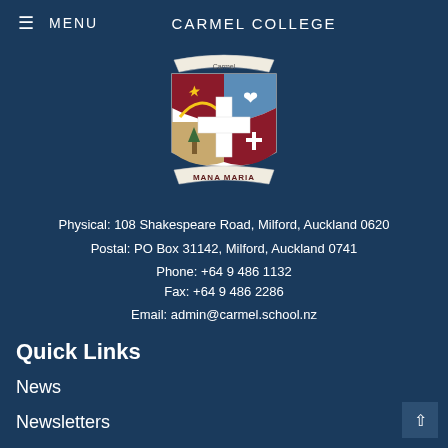≡ MENU   CARMEL COLLEGE
[Figure (logo): Carmel College crest/shield logo with cross, star, and motto 'MANA MARIA']
Physical: 108 Shakespeare Road, Milford, Auckland 0620
Postal: PO Box 31142, Milford, Auckland 0741
Phone: +64 9 486 1132
Fax: +64 9 486 2286
Email: admin@carmel.school.nz
Quick Links
News
Newsletters